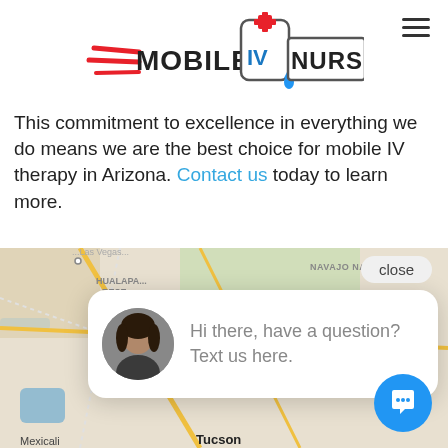[Figure (logo): Mobile IV Nurses logo with IV bag graphic and red speed lines]
This commitment to excellence in everything we do means we are the best choice for mobile IV therapy in Arizona. Contact us today to learn more.
[Figure (map): Google Map showing Arizona region with Phoenix, Mesa, Tucson, Navajo Nation, Fort Apache Reservation, Hualapai Reservation, Mexicali marked]
[Figure (screenshot): Chat widget popup with avatar photo of a woman and text: Hi there, have a question? Text us here. Close button visible top right.]